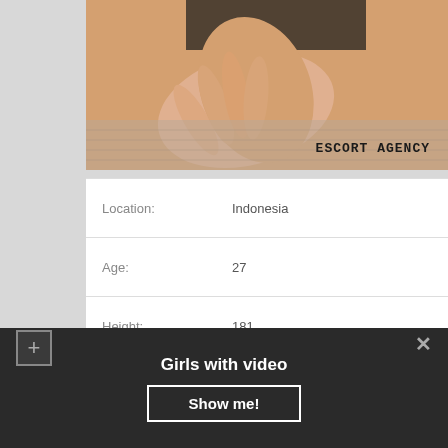[Figure (photo): Close-up photo of a person's hand and torso, with overlaid text reading 'ESCORT AGENCY' in bold monospace font]
| Label | Value |
| --- | --- |
| Location: | Indonesia |
| Age: | 27 |
| Height: | 181 |
| Weight: | 57 |
| Time to call: | 10:00 – 20:00 |
| Overnight: | 460$ |
Girls with video
Show me!